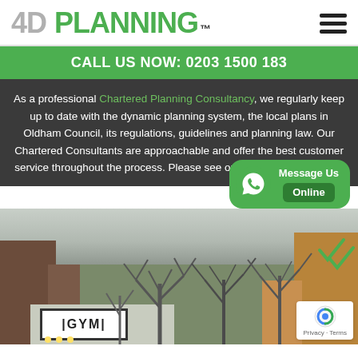4D PLANNING™
CALL US NOW: 0203 1500 183
As a professional Chartered Planning Consultancy, we regularly keep up to date with the dynamic planning system, the local plans in Oldham Council, its regulations, guidelines and planning law. Our Chartered Consultants are approachable and offer the best customer service throughout the process. Please see our online Reviews here.
[Figure (photo): Street scene showing a building with a GYM sign, bare winter trees, brick buildings, and overcast sky. A WhatsApp 'Message Us Online' widget is overlaid on the lower right of the dark section.]
Message Us Online
Privacy · Terms